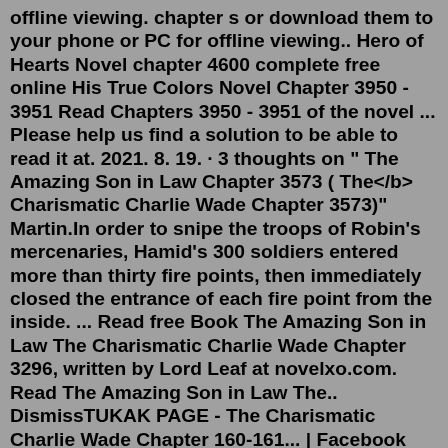offline viewing. chapter s or download them to your phone or PC for offline viewing.. Hero of Hearts Novel chapter 4600 complete free online His True Colors Novel Chapter 3950 - 3951 Read Chapters 3950 - 3951 of the novel ... Please help us find a solution to be able to read it at. 2021. 8. 19. · 3 thoughts on " The Amazing Son in Law Chapter 3573 ( The</b> Charismatic Charlie Wade Chapter 3573)" Martin.In order to snipe the troops of Robin's mercenaries, Hamid's 300 soldiers entered more than thirty fire points, then immediately closed the entrance of each fire point from the inside. ... Read free Book The Amazing Son in Law The Charismatic Charlie Wade Chapter 3296, written by Lord Leaf at novelxo.com. Read The Amazing Son in Law The.. DismissTUKAK PAGE - The Charismatic Charlie Wade Chapter 160-161... | Facebook TUKAK PAGE September 20, 2020 · The Charismatic Charlie Wade Chapter 160-161 Charlie nodded and said with a smile: "Come and see the style of Master Wades."The